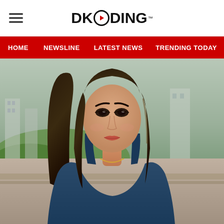DKODING
HOME
NEWSLINE
LATEST NEWS
TRENDING TODAY
ENT
[Figure (photo): A young woman with long dark hair, wearing a blue top and gold necklace, photographed outdoors with a blurred building and greenery background.]